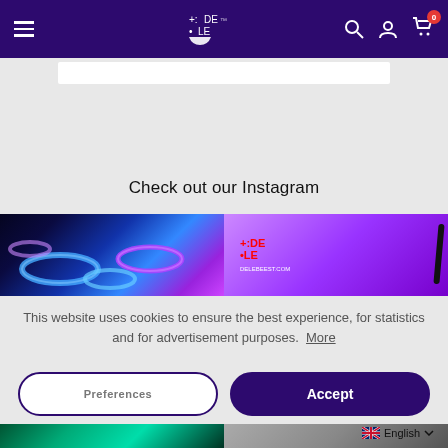Navigation bar with hamburger menu, DELE logo, search icon, account icon, cart icon with badge 0
[Figure (screenshot): White content card area below navigation]
Check out our Instagram
[Figure (photo): Two Instagram preview images: left shows glowing blue/purple rings on dark background, right shows purple background with DELE logo]
This website uses cookies to ensure the best experience, for statistics and for advertisement purposes. More
Preferences
Accept
[Figure (photo): Bottom row with two more Instagram preview images partially visible]
English